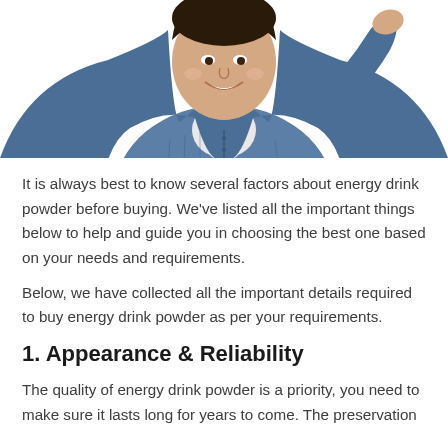[Figure (photo): A smiling young man in a blue denim shirt with one hand raised near his head, photographed from the torso up against a white background.]
It is always best to know several factors about energy drink powder before buying. We've listed all the important things below to help and guide you in choosing the best one based on your needs and requirements.
Below, we have collected all the important details required to buy energy drink powder as per your requirements.
1. Appearance & Reliability
The quality of energy drink powder is a priority, you need to make sure it lasts long for years to come. The preservation